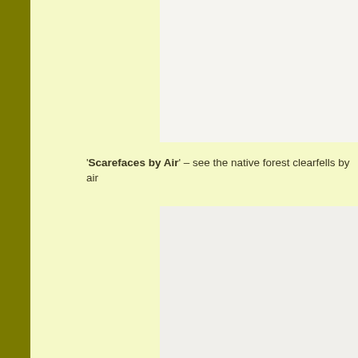'Scarefaces by Air' – see the native forest clearfells by air